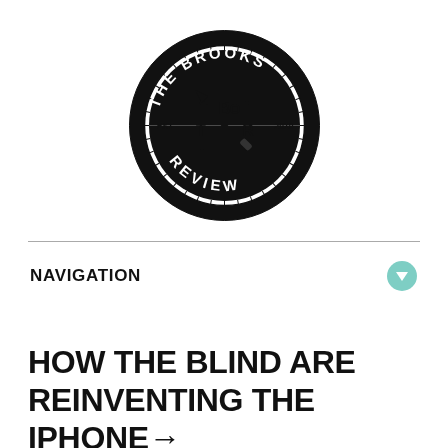[Figure (logo): The Brooks Review circular logo with crossed tools (pen and knife), EST 2010, letters T, B, R in the center]
NAVIGATION
HOW THE BLIND ARE REINVENTING THE IPHONE →